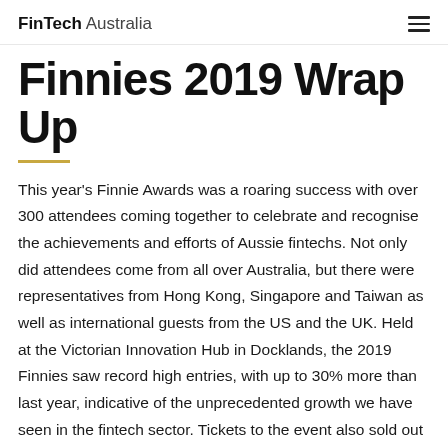FinTech Australia
Finnies 2019 Wrap Up
This year's Finnie Awards was a roaring success with over 300 attendees coming together to celebrate and recognise the achievements and efforts of Aussie fintechs. Not only did attendees come from all over Australia, but there were representatives from Hong Kong, Singapore and Taiwan as well as international guests from the US and the UK. Held at the Victorian Innovation Hub in Docklands, the 2019 Finnies saw record high entries, with up to 30% more than last year, indicative of the unprecedented growth we have seen in the fintech sector. Tickets to the event also sold out within a fortnight. For the first time in the Finnies three-year history, we had a waiting list for